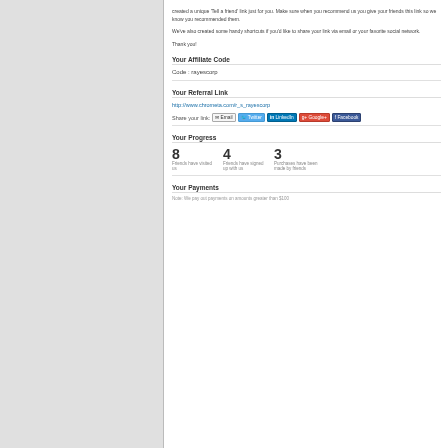[Figure (screenshot): Screenshot of an affiliate dashboard page showing sections: Your Affiliate Code (code: rayescorp), Your Referral Link (http://www.chrometa.com/r_s_rayescorp), share buttons for Email/Twitter/LinkedIn/Google+/Facebook, Your Progress (8 friends visited, 4 friends signed up, 3 purchases made), and Your Payments with a note about minimum payout.]
By default, the affiliate will be shown the home page where he can see his referral link and stats such as sent traffic, sales and payments.
Marketing materials page contains all the banners, graphics and other material the merchant has made available. It is easy to copy and paste the embed code...
[Figure (screenshot): Black area representing the bottom portion of a screenshot or video placeholder.]